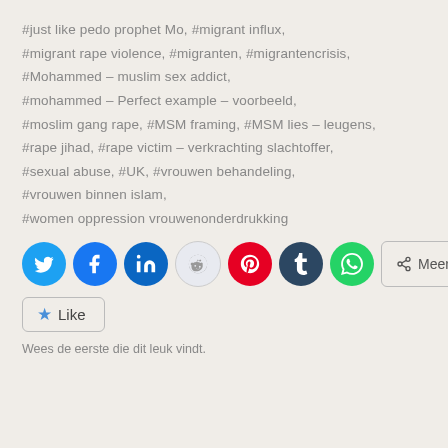#just like pedo prophet Mo, #migrant influx, #migrant rape violence, #migranten, #migrantencrisis, #Mohammed – muslim sex addict, #mohammed – Perfect example – voorbeeld, #moslim gang rape, #MSM framing, #MSM lies – leugens, #rape jihad, #rape victim – verkrachting slachtoffer, #sexual abuse, #UK, #vrouwen behandeling, #vrouwen binnen islam, #women oppression vrouwenonderdrukking
[Figure (infographic): Social sharing buttons: Twitter (blue), Facebook (blue), LinkedIn (blue), Reddit (light grey), Pinterest (red), Tumblr (dark navy), WhatsApp (green), and a 'Meer' (More) button with share icon]
[Figure (infographic): WordPress Like button with star icon and text 'Like', followed by caption 'Wees de eerste die dit leuk vindt.']